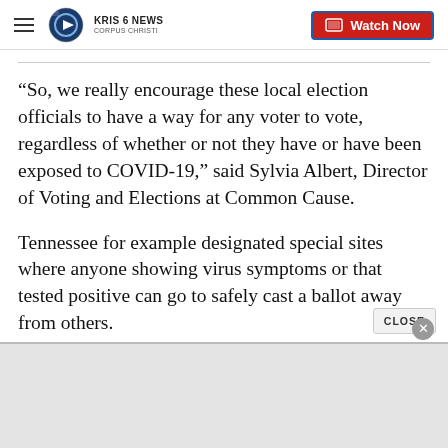KRIS 6 NEWS CORPUS CHRISTI — Watch Now
“So, we really encourage these local election officials to have a way for any voter to vote, regardless of whether or not they have or have been exposed to COVID-19,” said Sylvia Albert, Director of Voting and Elections at Common Cause.
Tennessee for example designated special sites where anyone showing virus symptoms or that tested positive can go to safely cast a ballot away from others.